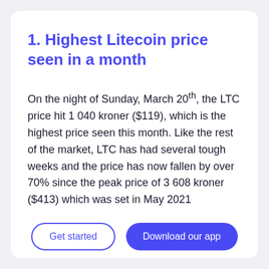1. Highest Litecoin price seen in a month
On the night of Sunday, March 20th, the LTC price hit 1 040 kroner ($119), which is the highest price seen this month. Like the rest of the market, LTC has had several tough weeks and the price has now fallen by over 70% since the peak price of 3 608 kroner ($413) which was set in May 2021